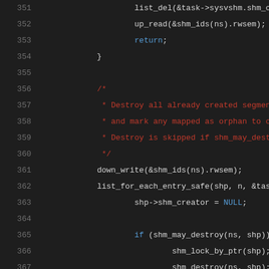[Figure (screenshot): Source code screenshot showing C code lines 351-371 with syntax highlighting on dark background. Lines show shm (shared memory) related kernel code including list_del, up_read, return, down_write, list_for_each_entry_safe, shm_creator, shm_may_destroy, shm_lock_by_ptr, shm_destroy function calls and a block comment about destroying segments.]